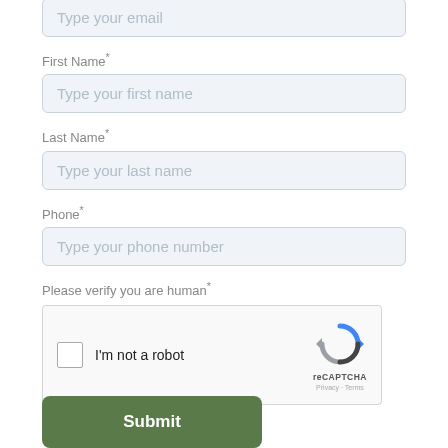Type your email
First Name*
Type your first name
Last Name*
Type your last name
Phone*
Type your phone number
Please verify you are human*
[Figure (other): reCAPTCHA widget with checkbox labeled I'm not a robot and reCAPTCHA logo with Privacy and Terms links]
Submit